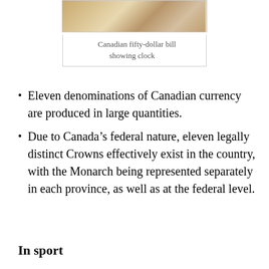[Figure (photo): Partial image of a Canadian fifty-dollar bill showing a clock]
Canadian fifty-dollar bill showing clock
Eleven denominations of Canadian currency are produced in large quantities.
Due to Canada’s federal nature, eleven legally distinct Crowns effectively exist in the country, with the Monarch being represented separately in each province, as well as at the federal level.
In sport